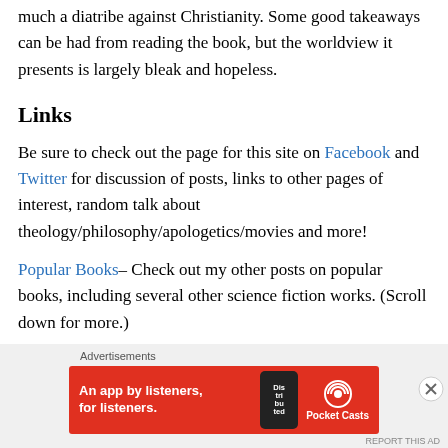much a diatribe against Christianity. Some good takeaways can be had from reading the book, but the worldview it presents is largely bleak and hopeless.
Links
Be sure to check out the page for this site on Facebook and Twitter for discussion of posts, links to other pages of interest, random talk about theology/philosophy/apologetics/movies and more!
Popular Books– Check out my other posts on popular books, including several other science fiction works. (Scroll down for more.)
[Figure (infographic): Pocket Casts advertisement banner: red background with phone image and text 'An app by listeners, for listeners.' with Pocket Casts logo]
Advertisements